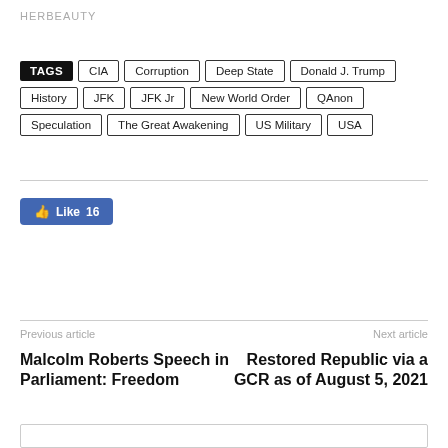HERBEAUTY
TAGS  CIA  Corruption  Deep State  Donald J. Trump  History  JFK  JFK Jr  New World Order  QAnon  Speculation  The Great Awakening  US Military  USA
[Figure (other): Facebook Like button showing 16 likes]
Previous article
Malcolm Roberts Speech in Parliament: Freedom
Next article
Restored Republic via a GCR as of August 5, 2021